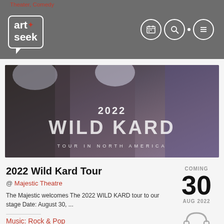Theater, Comedy
[Figure (logo): Art+Seek logo in speech bubble with calendar, search, and menu icons]
[Figure (photo): 2022 Wild Kard Tour in North America promotional banner with group photo of band members and text overlay '2022 WILD KARD TOUR IN NORTH AMERICA']
2022 Wild Kard Tour
@ Majestic Theatre
The Majestic welcomes The 2022 WILD KARD tour to our stage Date: August 30, ...
COMING 30 AUG 2022
Music: Rock & Pop